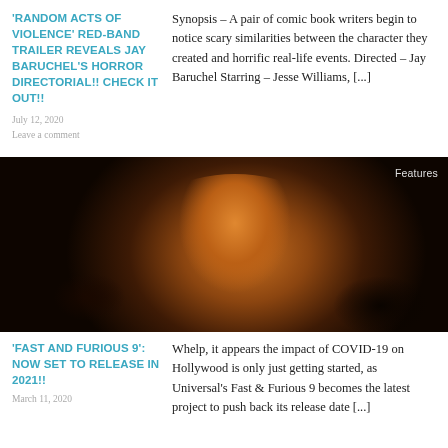'RANDOM ACTS OF VIOLENCE' RED-BAND TRAILER REVEALS JAY BARUCHEL'S HORROR DIRECTORIAL!! CHECK IT OUT!!
Synopsis – A pair of comic book writers begin to notice scary similarities between the character they created and horrific real-life events. Directed – Jay Baruchel Starring – Jesse Williams, [...]
July 12, 2020
Leave a comment
[Figure (photo): Dark cinematic still showing a man's face illuminated by warm orange/amber light against a dark background. A 'Features' tag is visible in the top right corner.]
'FAST AND FURIOUS 9': NOW SET TO RELEASE IN 2021!!
Whelp, it appears the impact of COVID-19 on Hollywood is only just getting started, as Universal's Fast & Furious 9 becomes the latest project to push back its release date [...]
March 11, 2020